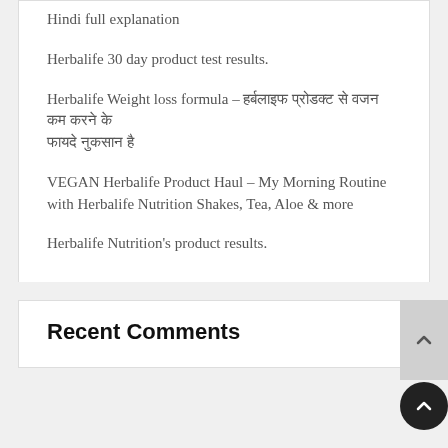Hindi full explanation
Herbalife 30 day product test results.
Herbalife Weight loss formula – हर्बलाइफ प्रोडक्ट से वजन कम करने के फायदे नुकसान है
VEGAN Herbalife Product Haul – My Morning Routine with Herbalife Nutrition Shakes, Tea, Aloe & more
Herbalife Nutrition's product results.
Recent Comments